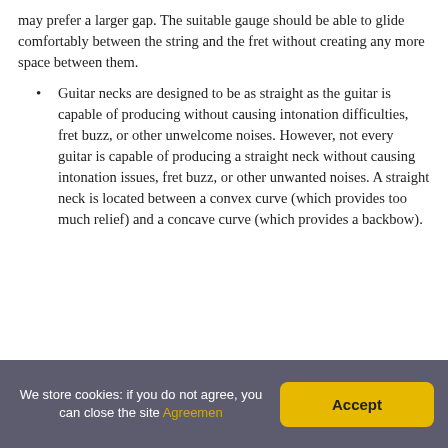may prefer a larger gap. The suitable gauge should be able to glide comfortably between the string and the fret without creating any more space between them.
Guitar necks are designed to be as straight as the guitar is capable of producing without causing intonation difficulties, fret buzz, or other unwelcome noises. However, not every guitar is capable of producing a straight neck without causing intonation issues, fret buzz, or other unwanted noises. A straight neck is located between a convex curve (which provides too much relief) and a concave curve (which provides a backbow).
Contents [hide]
We store cookies: if you do not agree, you can close the site Agreemen